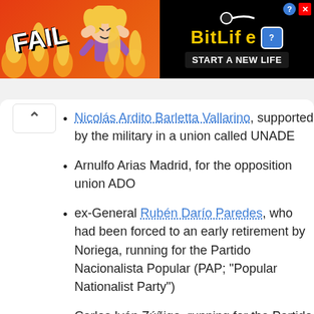[Figure (screenshot): BitLife advertisement banner with FAIL text, animated character, and START A NEW LIFE tagline on black and red/orange background]
Nicolás Ardito Barletta Vallarino, supported by the military in a union called UNADE
Arnulfo Arias Madrid, for the opposition union ADO
ex-General Rubén Darío Paredes, who had been forced to an early retirement by Noriega, running for the Partido Nacionalista Popular (PAP; "Popular Nationalist Party")
Carlos Iván Zúñiga, running for the Partido Acción Popular (PAPO; Popular Action Party)